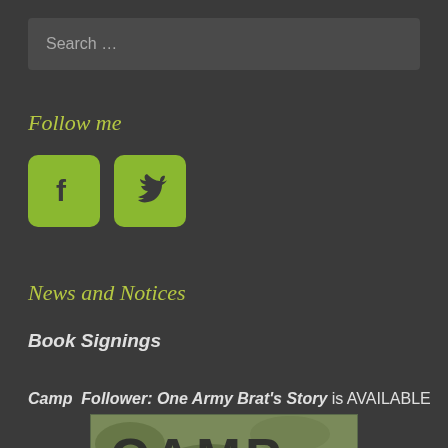Search …
Follow me
[Figure (illustration): Facebook and Twitter social media icon buttons with green rounded square backgrounds]
News and Notices
Book Signings
Camp Follower: One Army Brat's Story is AVAILABLE
[Figure (photo): Book cover image showing 'CAMP' text in large distressed letters on a military/camouflage background]